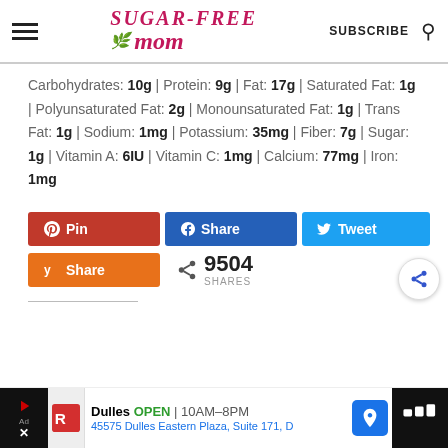SUGAR-FREE MOM | SUBSCRIBE
Carbohydrates: 10g | Protein: 9g | Fat: 17g | Saturated Fat: 1g | Polyunsaturated Fat: 2g | Monounsaturated Fat: 1g | Trans Fat: 1g | Sodium: 1mg | Potassium: 35mg | Fiber: 7g | Sugar: 1g | Vitamin A: 6IU | Vitamin C: 1mg | Calcium: 77mg | Iron: 1mg
[Figure (other): Social sharing buttons: Pinterest Pin (red), Facebook Share (blue), Twitter Tweet (light blue), Yummly Share (orange), and share count showing 9504 SHARES with a share icon]
[Figure (other): More sharing options button (circular icon with share symbol) on right side]
[Figure (other): Advertisement bar at bottom: Dulles store OPEN 10AM-8PM, 45575 Dulles Eastern Plaza Suite 171 D, with navigation and video icons]